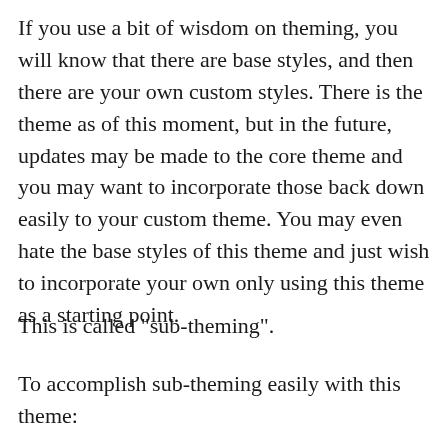If you use a bit of wisdom on theming, you will know that there are base styles, and then there are your own custom styles. There is the theme as of this moment, but in the future, updates may be made to the core theme and you may want to incorporate those back down easily to your custom theme. You may even hate the base styles of this theme and just wish to incorporate your own only using this theme as a starting point.
This is called "sub-theming".
To accomplish sub-theming easily with this theme: